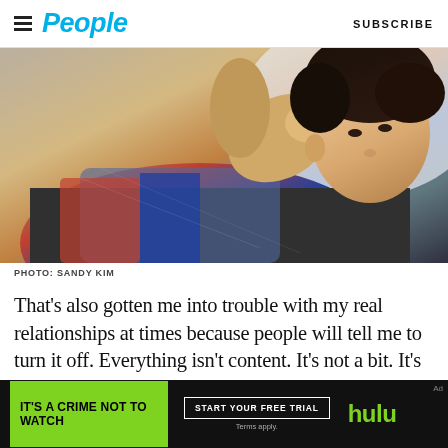People | SUBSCRIBE
[Figure (photo): Young man with curly dark hair resting his head on his hand, wearing a patterned colorful sweater, photographed from a low angle against a light background.]
PHOTO: SANDY KIM
That's also gotten me into trouble with my real relationships at times because people will tell me to turn it off. Everything isn't content. It's not a bit. It's no
[Figure (screenshot): Hulu advertisement banner: green box reading IT'S A CRIME NOT TO WATCH, START YOUR FREE TRIAL button, Terms apply., hulu logo in green]